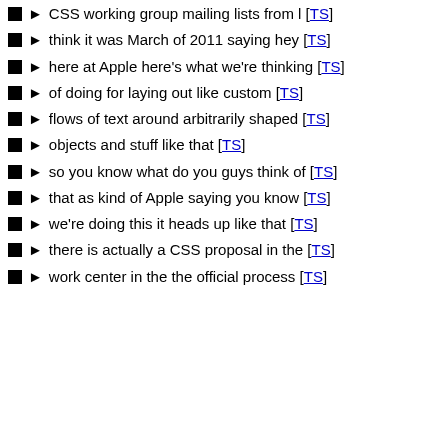CSS working group mailing lists from l [TS]
think it was March of 2011 saying hey [TS]
here at Apple here's what we're thinking [TS]
of doing for laying out like custom [TS]
flows of text around arbitrarily shaped [TS]
objects and stuff like that [TS]
so you know what do you guys think of [TS]
that as kind of Apple saying you know [TS]
we're doing this it heads up like that [TS]
there is actually a CSS proposal in the [TS]
work center in the the official process [TS]